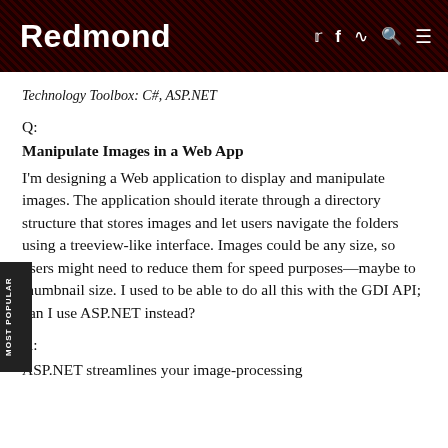Redmond
Technology Toolbox: C#, ASP.NET
Q:
Manipulate Images in a Web App
I'm designing a Web application to display and manipulate images. The application should iterate through a directory structure that stores images and let users navigate the folders using a treeview-like interface. Images could be any size, so users might need to reduce them for speed purposes—maybe to thumbnail size. I used to be able to do all this with the GDI API; can I use ASP.NET instead?
A:
ASP.NET streamlines your image-processing chores. Most ASP.NET image-related calls are .NET